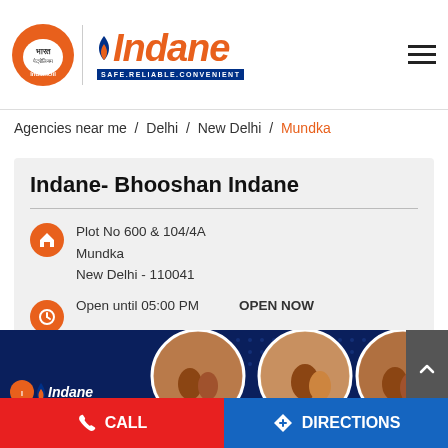[Figure (logo): Indane / IndianOil logo with orange circle, flame icon, Indane wordmark in orange italic, and tagline SAFE.RELIABLE.CONVENIENT on blue background]
Agencies near me / Delhi / New Delhi / Mundka
Indane- Bhooshan Indane
Plot No 600 & 104/4A
Mundka
New Delhi - 110041
Open until 05:00 PM    OPEN NOW
[Figure (photo): Indane banner with dark blue background showing Indane logo and circular photos of Indian families using gas products]
CALL
DIRECTIONS